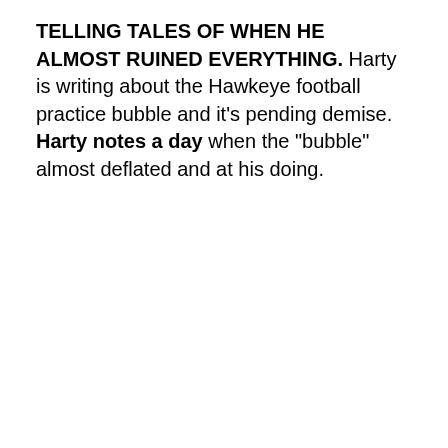TELLING TALES OF WHEN HE ALMOST RUINED EVERYTHING. Harty is writing about the Hawkeye football practice bubble and it's pending demise. Harty notes a day when the "bubble" almost deflated and at his doing.